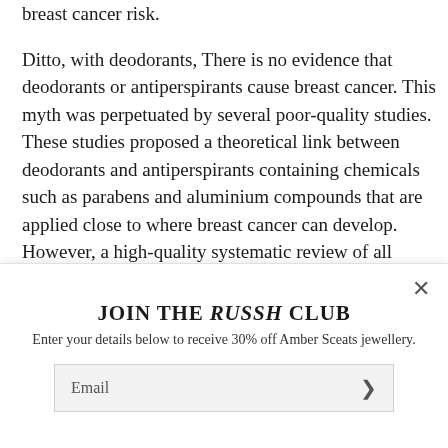breast cancer risk.
Ditto, with deodorants, There is no evidence that deodorants or antiperspirants cause breast cancer. This myth was perpetuated by several poor-quality studies. These studies proposed a theoretical link between deodorants and antiperspirants containing chemicals such as parabens and aluminium compounds that are applied close to where breast cancer can develop. However, a high-quality systematic review of all available studies showed there is no reliable evidence to suggest that the use of deodorants or antiperspirants
JOIN THE RUSSH CLUB
Enter your details below to receive 30% off Amber Sceats jewellery.
Email